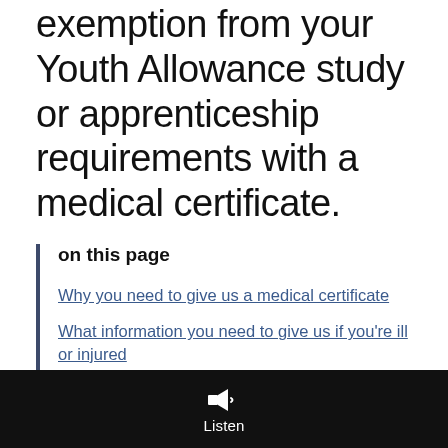exemption from your Youth Allowance study or apprenticeship requirements with a medical certificate.
on this page
Why you need to give us a medical certificate
What information you need to give us if you're ill or injured
Who can complete a medical certificate
Listen